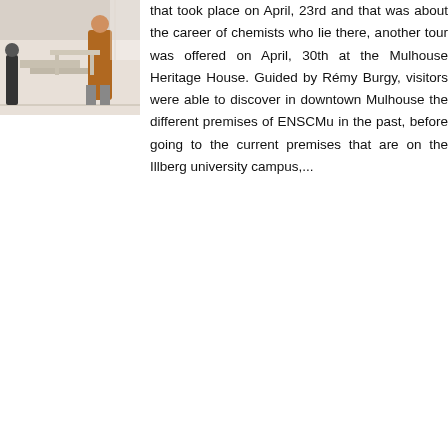[Figure (photo): Indoor photo showing two people walking in what appears to be a building interior, one wearing an orange/brown robe]
that took place on April, 23rd and that was about the career of chemists who lie there, another tour was offered on April, 30th at the Mulhouse Heritage House. Guided by Rémy Burgy, visitors were able to discover in downtown Mulhouse the different premises of ENSCMu in the past, before going to the current premises that are on the Illberg university campus,...
PLUS
We do not use any cookies on our website
Do not hesitate to take a look at our privacy policy (fr)
STUDY TR
[Figure (photo): Colorful photo strip showing flowers or festive scene]
to Prague during the spring holidays for a